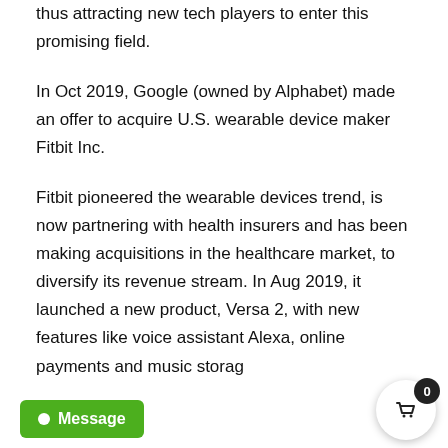thus attracting new tech players to enter this promising field.
In Oct 2019, Google (owned by Alphabet) made an offer to acquire U.S. wearable device maker Fitbit Inc.
Fitbit pioneered the wearable devices trend, is now partnering with health insurers and has been making acquisitions in the healthcare market, to diversify its revenue stream. In Aug 2019, it launched a new product, Versa 2, with new features like voice assistant Alexa, online payments and music storag